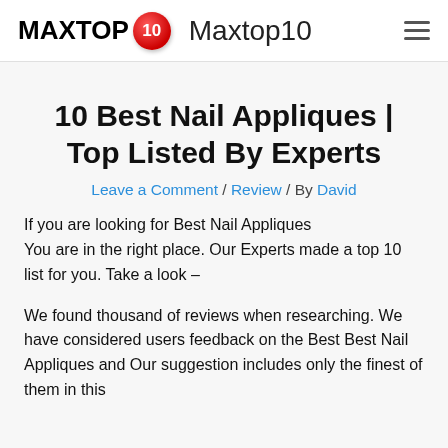MAXTOP 10  Maxtop10
10 Best Nail Appliques | Top Listed By Experts
Leave a Comment / Review / By David
If you are looking for Best Nail Appliques You are in the right place. Our Experts made a top 10 list for you. Take a look –
We found thousand of reviews when researching. We have considered users feedback on the Best Best Nail Appliques and Our suggestion includes only the finest of them in this